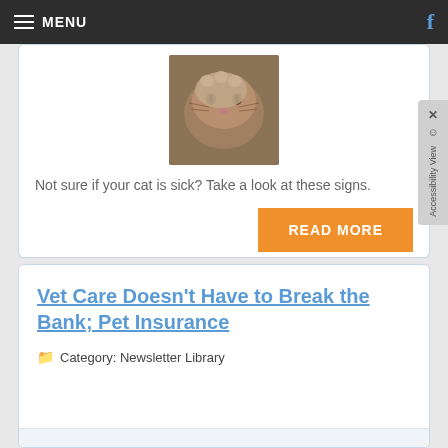MENU
[Figure (photo): Close-up photo of a cat's face with paw raised]
Not sure if your cat is sick? Take a look at these signs.
READ MORE
Vet Care Doesn't Have to Break the Bank; Pet Insurance
Category: Newsletter Library